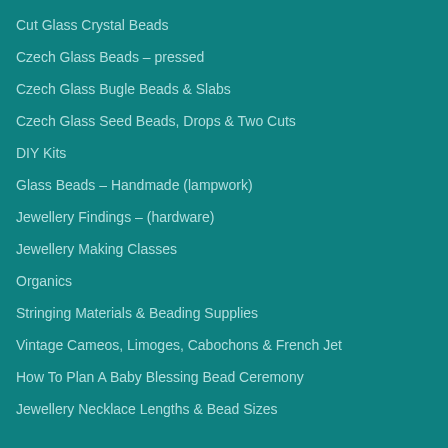Cut Glass Crystal Beads
Czech Glass Beads – pressed
Czech Glass Bugle Beads & Slabs
Czech Glass Seed Beads, Drops & Two Cuts
DIY Kits
Glass Beads – Handmade (lampwork)
Jewellery Findings – (hardware)
Jewellery Making Classes
Organics
Stringing Materials & Beading Supplies
Vintage Cameos, Limoges, Cabochons & French Jet
How To Plan A Baby Blessing Bead Ceremony
Jewellery Necklace Lengths & Bead Sizes